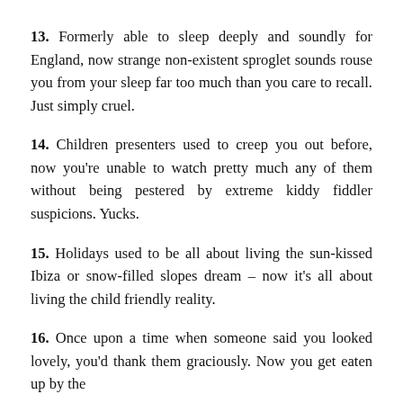13. Formerly able to sleep deeply and soundly for England, now strange non-existent sproglet sounds rouse you from your sleep far too much than you care to recall. Just simply cruel.
14. Children presenters used to creep you out before, now you're unable to watch pretty much any of them without being pestered by extreme kiddy fiddler suspicions. Yucks.
15. Holidays used to be all about living the sun-kissed Ibiza or snow-filled slopes dream – now it's all about living the child friendly reality.
16. Once upon a time when someone said you looked lovely, you'd thank them graciously. Now you get eaten up by the